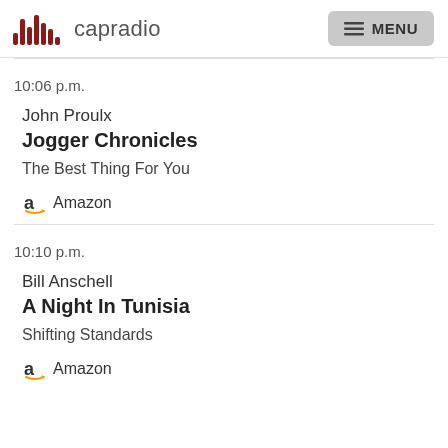capradio  MENU
10:06 p.m.
John Proulx
Jogger Chronicles
The Best Thing For You
Amazon
10:10 p.m.
Bill Anschell
A Night In Tunisia
Shifting Standards
Amazon